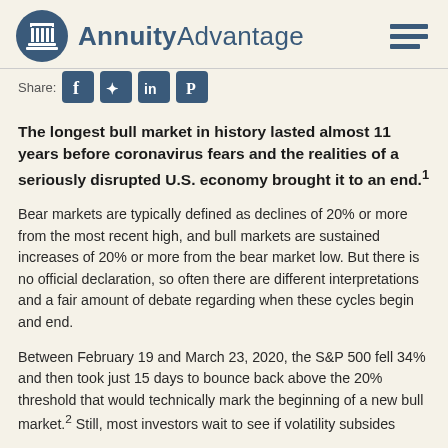AnnuityAdvantage
Share:
The longest bull market in history lasted almost 11 years before coronavirus fears and the realities of a seriously disrupted U.S. economy brought it to an end.1
Bear markets are typically defined as declines of 20% or more from the most recent high, and bull markets are sustained increases of 20% or more from the bear market low. But there is no official declaration, so often there are different interpretations and a fair amount of debate regarding when these cycles begin and end.
Between February 19 and March 23, 2020, the S&P 500 fell 34% and then took just 15 days to bounce back above the 20% threshold that would technically mark the beginning of a new bull market.2 Still, most investors wait to see if volatility subsides and highs are recaptured before they celebrate the arrival of a new bull market.